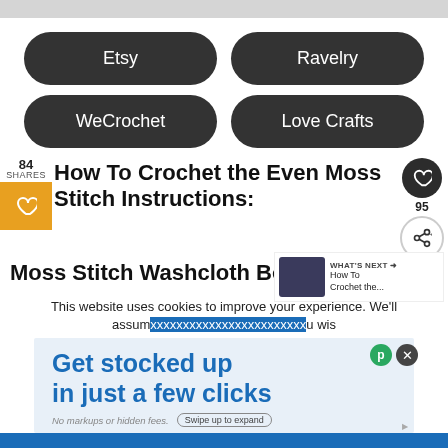[Figure (screenshot): Top gray bar at top of page]
Etsy
Ravelry
WeCrochet
Love Crafts
84 SHARES
How To Crochet the Even Moss Stitch Instructions:
Moss Stitch Washcloth Body
WHAT'S NEXT → How To Crochet the...
This website uses cookies to improve your experience. We'll assum... u wis...
Get stocked up in just a few clicks
No markups or hidden fees.
Swipe up to expand